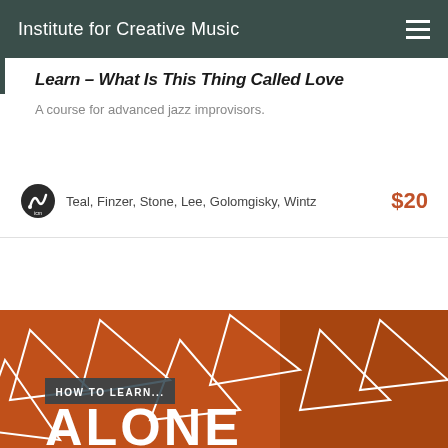Institute for Creative Music
Learn – What Is This Thing Called Love
A course for advanced jazz improvisors.
Teal, Finzer, Stone, Lee, Golomgisky, Wintz   $20
[Figure (illustration): Orange course card with geometric triangle patterns and a musician photo overlay. Text reads 'HOW TO LEARN... ALONE']